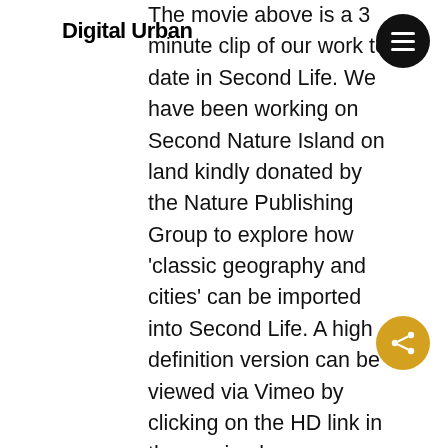Digital Urban
The movie above is a 3 minute clip of our work to date in Second Life. We have been working on Second Nature Island on land kindly donated by the Nature Publishing Group to explore how 'classic geography and cities' can be imported into Second Life. A high definition version can be viewed via Vimeo by clicking on the HD link in the movie player.
Music is by the Tartan Rascals
See Nature.com for more information on our work and other 'scientists' working in Second Life.
As ever any thoughts, comments or